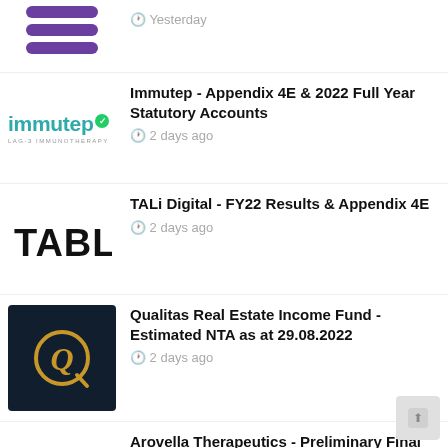[Figure (logo): Purple striped logo (partial, top of page)]
Yesterday
[Figure (logo): Immutep logo - teal text with green checkmark]
Immutep - Appendix 4E & 2022 Full Year Statutory Accounts
2 days ago
[Figure (logo): TALi Digital logo - bold black letters TALI]
TALi Digital - FY22 Results & Appendix 4E
2 days ago
[Figure (logo): Qualitas Real Estate Income Fund - dark navy box with gold Q emblem]
Qualitas Real Estate Income Fund - Estimated NTA as at 29.08.2022
2 days ago
Arovella Therapeutics - Preliminary Final Report